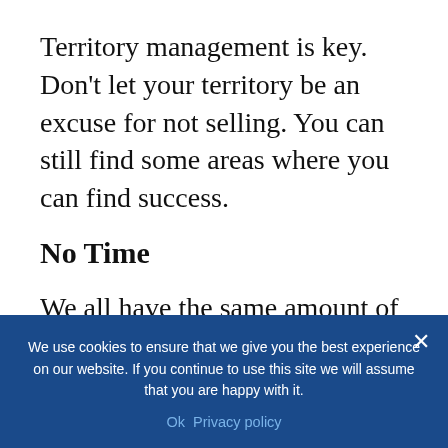Territory management is key. Don't let your territory be an excuse for not selling. You can still find some areas where you can find success.
No Time
We all have the same amount of time in a day. It all depends on how you can manage that time. Focus on things that are more crucial. Prioritize the things you need to do
We use cookies to ensure that we give you the best experience on our website. If you continue to use this site we will assume that you are happy with it. Ok  Privacy policy